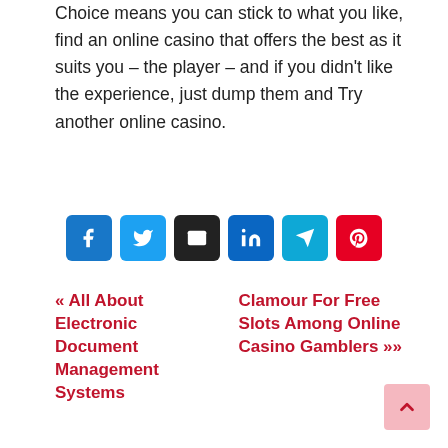Choice means you can stick to what you like, find an online casino that offers the best as it suits you – the player – and if you didn't like the experience, just dump them and Try another online casino.
[Figure (infographic): Row of six social share icon buttons: Facebook (blue), Twitter (light blue), Email (black), LinkedIn (dark blue), Telegram (teal), Pinterest (red)]
« All About Electronic Document Management Systems
Clamour For Free Slots Among Online Casino Gamblers »»